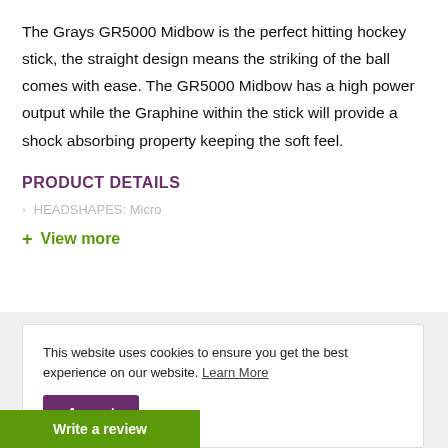The Grays GR5000 Midbow is the perfect hitting hockey stick, the straight design means the striking of the ball comes with ease. The GR5000 Midbow has a high power output while the Graphine within the stick will provide a shock absorbing property keeping the soft feel.
PRODUCT DETAILS
HEADSHAPES: Micro
+ View more
This website uses cookies to ensure you get the best experience on our website. Learn More
Accept
Write a review